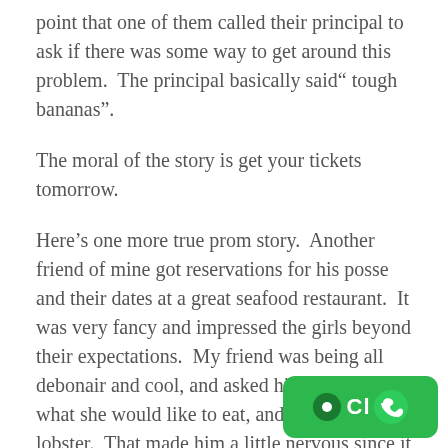point that one of them called their principal to ask if there was some way to get around this problem.  The principal basically said" tough bananas".
The moral of the story is get your tickets tomorrow.
Here’s one more true prom story.  Another friend of mine got reservations for his posse and their dates at a great seafood restaurant.  It was very fancy and impressed the girls beyond their expectations.  My friend was being all debonair and cool, and asked his girlfriend what she would like to eat, and she said lobster.  That made him a little nervous since it was the most ex- thing on the menu, but, hey, you only live once,